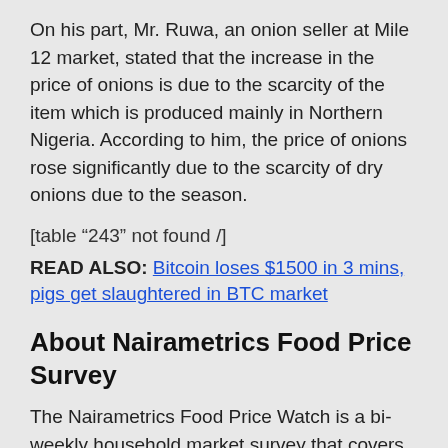On his part, Mr. Ruwa, an onion seller at Mile 12 market, stated that the increase in the price of onions is due to the scarcity of the item which is produced mainly in Northern Nigeria. According to him, the price of onions rose significantly due to the scarcity of dry onions due to the season.
[table “243” not found /]
READ ALSO: Bitcoin loses $1500 in 3 mins, pigs get slaughtered in BTC market
About Nairametrics Food Price Survey
The Nairametrics Food Price Watch is a bi-weekly household market survey that covers the prices of major food items, with emphasis on five major markets in Lagos – Mushin Market, Daleko Market, Oyingbo Market, Idi-Oro Market and Mile